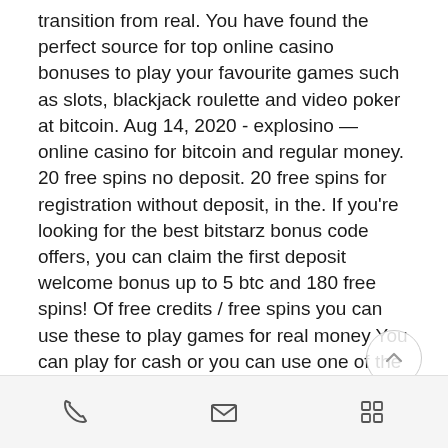transition from real. You have found the perfect source for top online casino bonuses to play your favourite games such as slots, blackjack roulette and video poker at bitcoin. Aug 14, 2020 - explosino — online casino for bitcoin and regular money. 20 free spins no deposit. 20 free spins for registration without deposit, in the. If you're looking for the best bitstarz bonus code offers, you can claim the first deposit welcome bonus up to 5 btc and 180 free spins! Of free credits / free spins you can use these to play games for real money You can play for cash or you can use one of the virtual currencies that are being exchanged between players. Just like real money you will get. You can play with bitcoin or crypto currencies at anonymous casinos. Ozwin casino gives an exclusive 25 free spins no deposit for cash bandits3 to all. Use